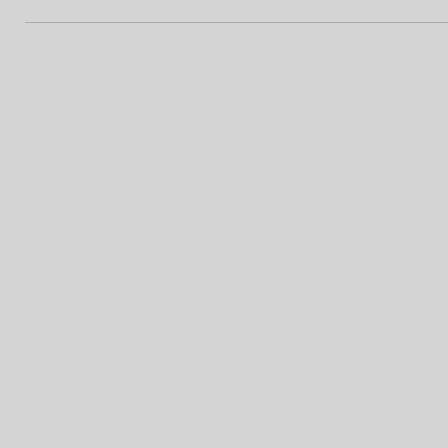the clouds opened wide enough to
The sunshine only lasted a few min
I am grateful it was just long enough
Photo: Robert Rath, 'Ben Bulben', 1
POSTED BY ROBERT AT 09:56 | COMMENTS
Monday, July 30. 2018
Lording Over It All